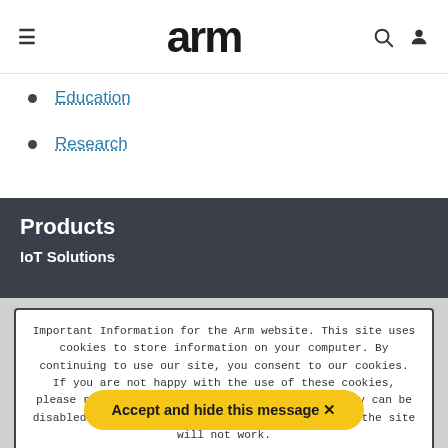arm
Education
Research
Products
IoT Solutions
Important Information for the Arm website. This site uses cookies to store information on your computer. By continuing to use our site, you consent to our cookies. If you are not happy with the use of these cookies, please review our Cookie Policy to learn how they can be disabled. By disabling cookies, some features of the site will not work.
Accept and hide this message ✕